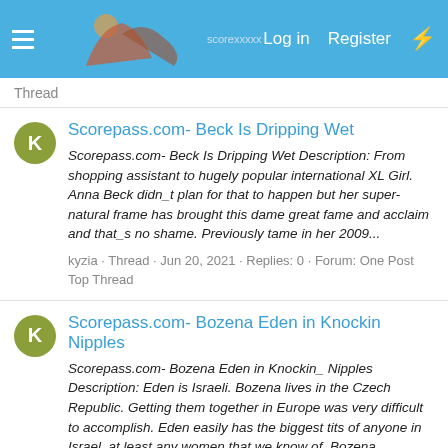Log in  Register
Thread
Scorepass.com- Beck Is Dripping Wet
Scorepass.com- Beck Is Dripping Wet Description: From shopping assistant to hugely popular international XL Girl. Anna Beck didn_t plan for that to happen but her super-natural frame has brought this dame great fame and acclaim and that_s no shame. Previously tame in her 2009...
kyzia · Thread · Jun 20, 2021 · Replies: 0 · Forum: One Post Top Thread
Scorepass.com- Bozena Eden in Knockin Nipples
Scorepass.com- Bozena Eden in Knockin_ Nipples Description: Eden is Israeli. Bozena lives in the Czech Republic. Getting them together in Europe was very difficult to accomplish. Eden easily has the biggest tits of anyone in Israel, at least any women that we know of. Bozena...
kyzia · Thread · Jun 20, 2021 · Replies: 0 · Forum: One Post Top Thread